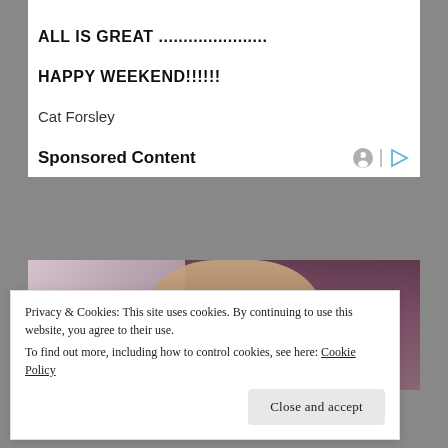ALL IS GREAT ......................
HAPPY WEEKEND!!!!!!
Cat Forsley
Sponsored Content
[Figure (photo): A woman with curly hair in front of a purple curtain background]
Privacy & Cookies: This site uses cookies. By continuing to use this website, you agree to their use.
To find out more, including how to control cookies, see here: Cookie Policy